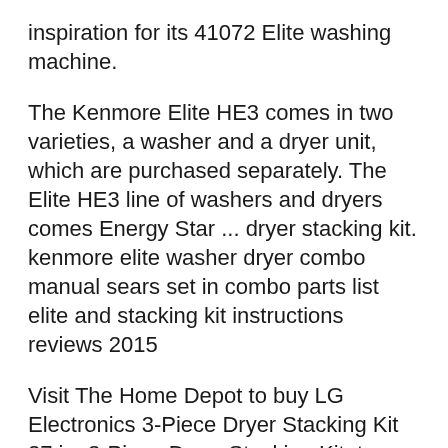inspiration for its 41072 Elite washing machine.
The Kenmore Elite HE3 comes in two varieties, a washer and a dryer unit, which are purchased separately. The Elite HE3 line of washers and dryers comes Energy Star ... dryer stacking kit. kenmore elite washer dryer combo manual sears set in combo parts list elite and stacking kit instructions reviews 2015
Visit The Home Depot to buy LG Electronics 3-Piece Dryer Stacking Kit 27 in. 3-Piece Dryer Stacking Kit. to work on all Kenmore, Kenmore Elite and LG Looking for the leading kenmore